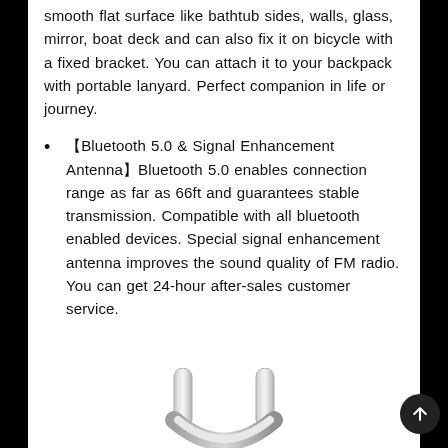smooth flat surface like bathtub sides, walls, glass, mirror, boat deck and can also fix it on bicycle with a fixed bracket. You can attach it to your backpack with portable lanyard. Perfect companion in life or journey.
【Bluetooth 5.0 & Signal Enhancement Antenna】Bluetooth 5.0 enables connection range as far as 66ft and guarantees stable transmission. Compatible with all bluetooth enabled devices. Special signal enhancement antenna improves the sound quality of FM radio. You can get 24-hour after-sales customer service.
[Figure (photo): Bottom portion of a metallic carabiner-style clip, partially visible at the bottom of the page against a white background.]